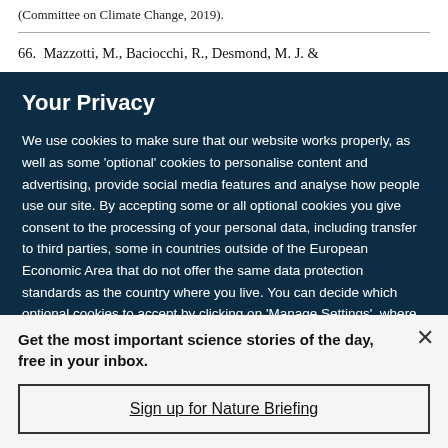(Committee on Climate Change, 2019).
66.  Mazzotti, M., Baciocchi, R., Desmond, M. J. &
Your Privacy
We use cookies to make sure that our website works properly, as well as some 'optional' cookies to personalise content and advertising, provide social media features and analyse how people use our site. By accepting some or all optional cookies you give consent to the processing of your personal data, including transfer to third parties, some in countries outside of the European Economic Area that do not offer the same data protection standards as the country where you live. You can decide which optional cookies to accept by clicking on 'Manage Settings', where you can
Get the most important science stories of the day, free in your inbox.
Sign up for Nature Briefing